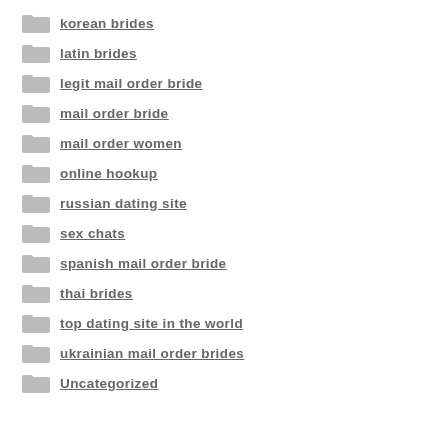korean brides
latin brides
legit mail order bride
mail order bride
mail order women
online hookup
russian dating site
sex chats
spanish mail order bride
thai brides
top dating site in the world
ukrainian mail order brides
Uncategorized